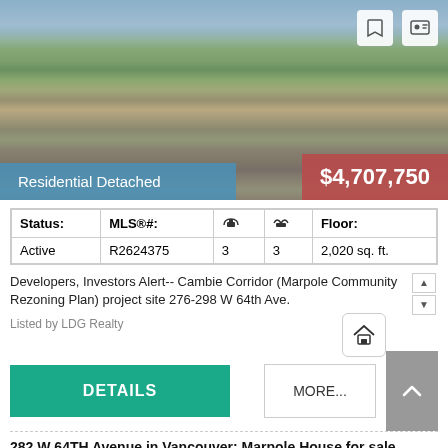[Figure (photo): Aerial photo of Vancouver residential neighbourhood with mountains in background]
Residential Detached
$4,707,750
| Status: | MLS®#: | 🛏 | 🛁 | Floor: |
| --- | --- | --- | --- | --- |
| Active | R2624375 | 3 | 3 | 2,020 sq. ft. |
Developers, Investors Alert-- Cambie Corridor (Marpole Community Rezoning Plan) project site 276-298 W 64th Ave.
Listed by LDG Realty
DETAILS
MORE...
282 W 64TH Avenue in Vancouver: Marpole House for sale (Vancouver West) : MLS®# R2626213